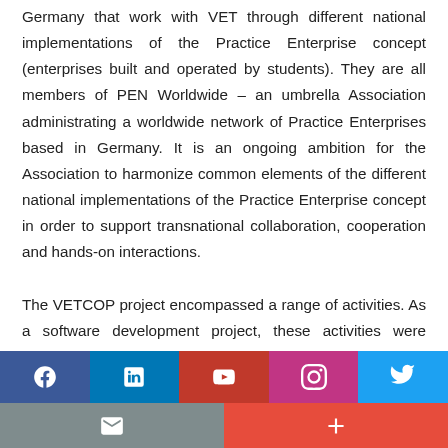Germany that work with VET through different national implementations of the Practice Enterprise concept (enterprises built and operated by students). They are all members of PEN Worldwide – an umbrella Association administrating a worldwide network of Practice Enterprises based in Germany. It is an ongoing ambition for the Association to harmonize common elements of the different national implementations of the Practice Enterprise concept in order to support transnational collaboration, cooperation and hands-on interactions.

The VETCOP project encompassed a range of activities. As a software development project, these activities were mainly about the actual development of code, work packages, modules, subsystems and intellectual outputs.
[Figure (infographic): Social media share bar at the bottom of the page with icons for Facebook, LinkedIn, YouTube, Instagram, Twitter, Email, and a Plus button.]